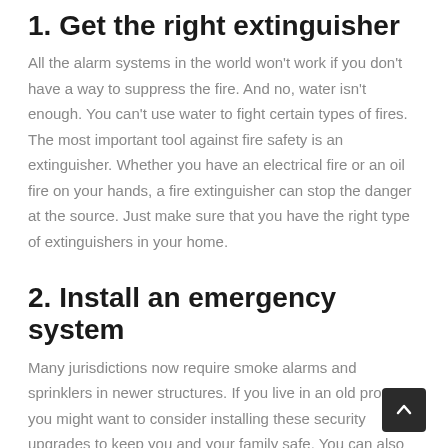1. Get the right extinguisher
All the alarm systems in the world won't work if you don't have a way to suppress the fire. And no, water isn't enough. You can't use water to fight certain types of fires. The most important tool against fire safety is an extinguisher. Whether you have an electrical fire or an oil fire on your hands, a fire extinguisher can stop the danger at the source. Just make sure that you have the right type of extinguishers in your home.
2. Install an emergency system
Many jurisdictions now require smoke alarms and sprinklers in newer structures. If you live in an old property, you might want to consider installing these security upgrades to keep you and your family safe. You can also go one step further by investing in supplementary technology such as heat detectors and automated fire suppression systems. Some fires don't emit smoke right away, and a heat detector should prevent small fires